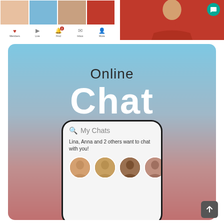[Figure (screenshot): Top strip showing a dating app UI with profile photo thumbnails, navigation icons, and a red/blue background. Right panel shows a person in red with a teal chat button.]
[Figure (screenshot): Dating app promotional card with light blue to pink gradient background. Large text reads 'Online Chat'. Below is a phone mockup showing 'My Chats' screen with message 'Lina, Anna and 2 others want to chat with you!' and four circular avatar photos.]